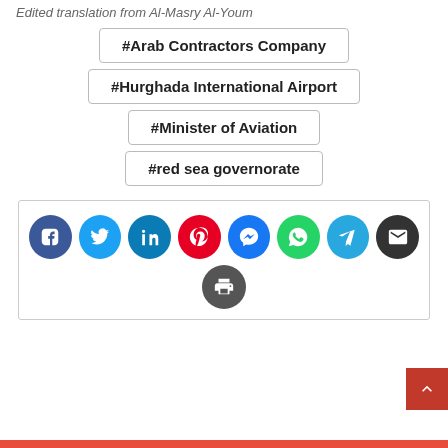Edited translation from Al-Masry Al-Youm
#Arab Contractors Company
#Hurghada International Airport
#Minister of Aviation
#red sea governorate
[Figure (infographic): Social sharing icons row: Facebook (blue), Twitter (light blue), LinkedIn (dark blue), Pinterest (red), Messenger (blue), WhatsApp (green), Telegram (cyan), Email (dark gray), and Print (gray) circular icon buttons in a share box with border.]